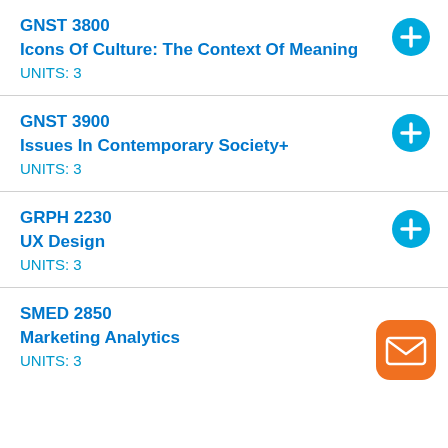GNST 3800
Icons Of Culture: The Context Of Meaning
UNITS: 3
GNST 3900
Issues In Contemporary Society+
UNITS: 3
GRPH 2230
UX Design
UNITS: 3
SMED 2850
Marketing Analytics
UNITS: 3